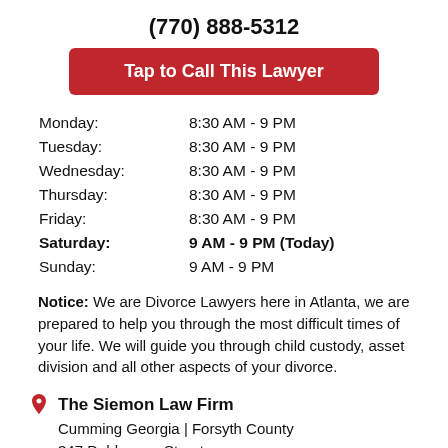(770) 888-5312
Tap to Call This Lawyer
Monday: 8:30 AM - 9 PM
Tuesday: 8:30 AM - 9 PM
Wednesday: 8:30 AM - 9 PM
Thursday: 8:30 AM - 9 PM
Friday: 8:30 AM - 9 PM
Saturday: 9 AM - 9 PM (Today)
Sunday: 9 AM - 9 PM
Notice: We are Divorce Lawyers here in Atlanta, we are prepared to help you through the most difficult times of your life. We will guide you through child custody, asset division and all other aspects of your divorce.
The Siemon Law Firm
Cumming Georgia | Forsyth County
347 Dahlonega Street
Building 100